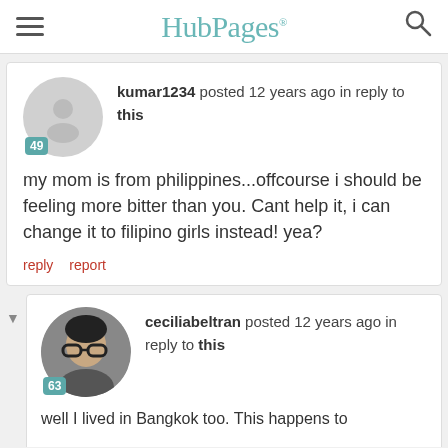HubPages
kumar1234 posted 12 years ago in reply to this
my mom is from philippines...offcourse i should be feeling more bitter than you. Cant help it, i can change it to filipino girls instead! yea?
reply   report
ceciliabeltran posted 12 years ago in reply to this
well I lived in Bangkok too. This happens to